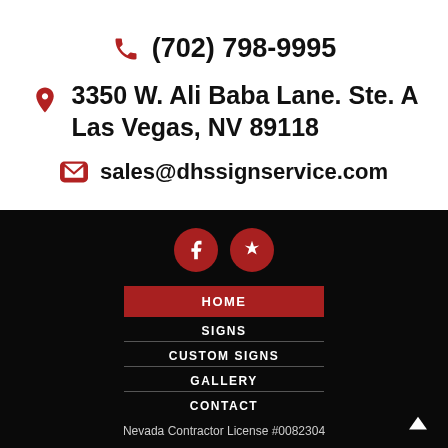(702) 798-9995
3350 W. Ali Baba Lane. Ste. A
Las Vegas, NV 89118
sales@dhssignservice.com
[Figure (other): Social media icons: Facebook (f) and Yelp (star/flower) in red circles on black background]
HOME
SIGNS
CUSTOM SIGNS
GALLERY
CONTACT
Nevada Contractor License #0082304